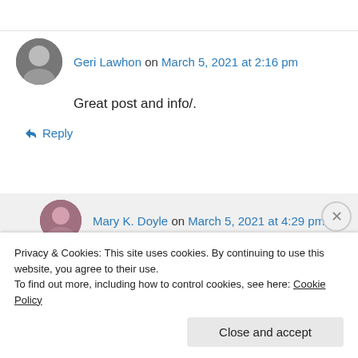Geri Lawhon on March 5, 2021 at 2:16 pm
Great post and info/.
↪ Reply
Mary K. Doyle on March 5, 2021 at 4:29 pm
Thank you, Geri!
↪ Reply
Privacy & Cookies: This site uses cookies. By continuing to use this website, you agree to their use.
To find out more, including how to control cookies, see here: Cookie Policy
Close and accept